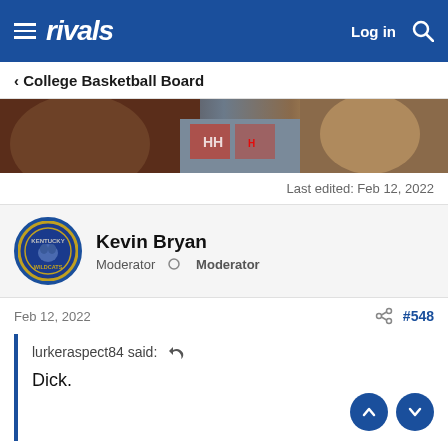rivals  Log in 🔍
< College Basketball Board
[Figure (photo): Cropped banner photo showing close-up faces of basketball players or fans in a crowd]
Last edited: Feb 12, 2022
Kevin Bryan
Moderator  ○ Moderator
Feb 12, 2022  #548
lurkeraspect84 said: ↩

Dick.